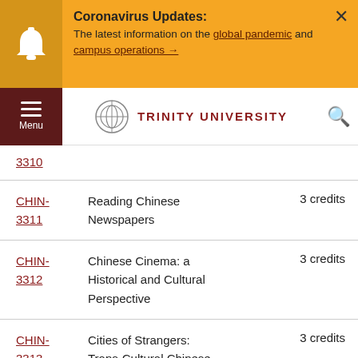Coronavirus Updates: The latest information on the global pandemic and campus operations →
[Figure (logo): Trinity University logo with circular emblem and text TRINITY UNIVERSITY in dark red]
3310
| Course | Title | Credits |
| --- | --- | --- |
| CHIN-3311 | Reading Chinese Newspapers | 3 credits |
| CHIN-3312 | Chinese Cinema: a Historical and Cultural Perspective | 3 credits |
| CHIN-3313 | Cities of Strangers: Trans-Cultural Chinese Cinema | 3 credits |